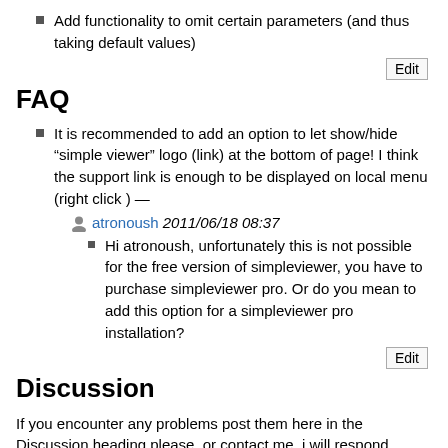Add functionality to omit certain parameters (and thus taking default values)
Edit
FAQ
It is recommended to add an option to let show/hide “simple viewer” logo (link) at the bottom of page! I think the support link is enough to be displayed on local menu (right click ) —
atronoush 2011/06/18 08:37
Hi atronoush, unfortunately this is not possible for the free version of simpleviewer, you have to purchase simpleviewer pro. Or do you mean to add this option for a simpleviewer pro installation?
Edit
Discussion
If you encounter any problems post them here in the Discussion heading please, or contact me, i will respond